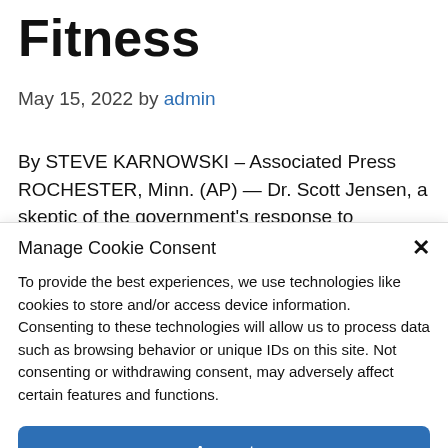Fitness
May 15, 2022 by admin
By STEVE KARNOWSKI – Associated Press ROCHESTER, Minn. (AP) — Dr. Scott Jensen, a skeptic of the government's response to
Manage Cookie Consent
To provide the best experiences, we use technologies like cookies to store and/or access device information. Consenting to these technologies will allow us to process data such as browsing behavior or unique IDs on this site. Not consenting or withdrawing consent, may adversely affect certain features and functions.
Accept
Cookie Policy